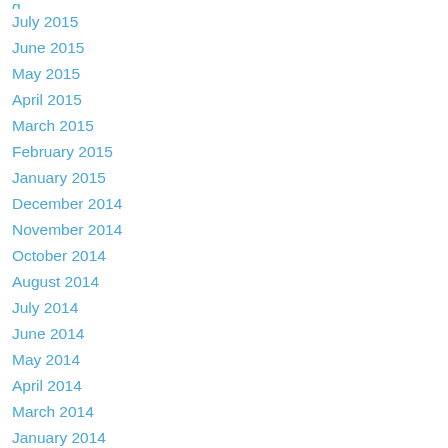July 2015
June 2015
May 2015
April 2015
March 2015
February 2015
January 2015
December 2014
November 2014
October 2014
August 2014
July 2014
June 2014
May 2014
April 2014
March 2014
January 2014
December 2013
November 2013
October 2013